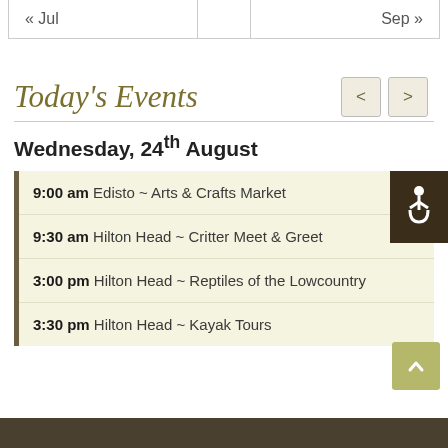| « Jul |  | Sep » |
| --- | --- | --- |
Today's Events
Wednesday, 24th August
9:00 am Edisto ~ Arts & Crafts Market
9:30 am Hilton Head ~ Critter Meet & Greet
3:00 pm Hilton Head ~ Reptiles of the Lowcountry
3:30 pm Hilton Head ~ Kayak Tours